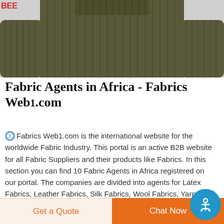[Figure (photo): Photo of a person wearing an olive/khaki ribbed knit sweater, cropped to show torso and arms]
Fabric Agents in Africa - Fabrics Web1.com
Fabrics Web1.com is the international website for the worldwide Fabric Industry. This portal is an active B2B website for all Fabric Suppliers and their products like Fabrics. In this section you can find 10 Fabric Agents in Africa registered on our portal. The companies are divided into agents for Latex Fabrics, Leather Fabrics, Silk Fabrics, Wool Fabrics, Yarns and more. We hav
Get a Quote
Chat Now